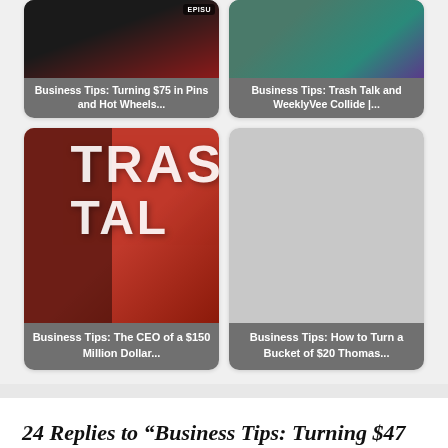[Figure (screenshot): Grid of four video thumbnail cards. Top-left: dark thumbnail with text 'Business Tips: Turning $75 in Pins and Hot Wheels...'. Top-right: colorful thumbnail with text 'Business Tips: Trash Talk and WeeklyVee Collide |...'. Bottom-left: orange/red thumbnail showing a 'TRASH TALK' sign with text 'Business Tips: The CEO of a $150 Million Dollar...'. Bottom-right: grey thumbnail with text 'Business Tips: How to Turn a Bucket of $20 Thomas...']
24 Replies to “Business Tips: Turning $47 into $430 by Flipping Trash | Trash Talk #5”